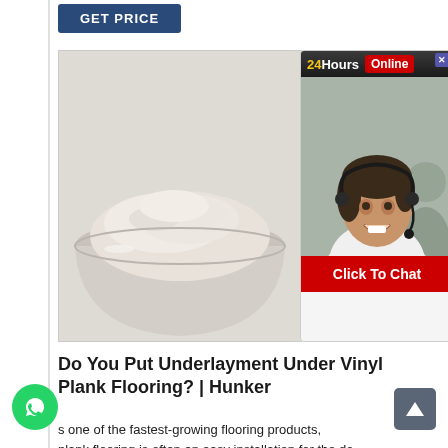[Figure (other): GET PRICE button — dark navy background, white bold text]
[Figure (photo): A glass petri dish filled with white/beige powder on a light background, with a '24Hours Online / Click To Chat' customer service chat widget overlay showing a smiling woman with headset]
Do You Put Underlayment Under Vinyl Plank Flooring? | Hunker
As one of the fastest-growing flooring products, plank flooring is often an easy installation for the do-